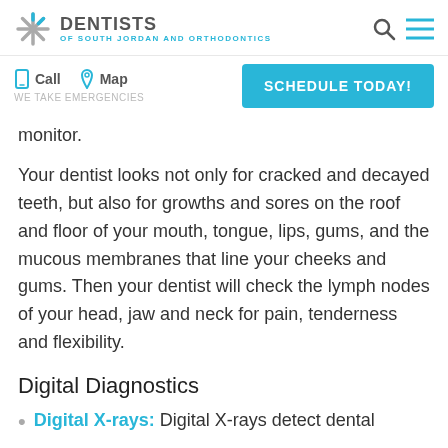DENTISTS OF SOUTH JORDAN AND ORTHODONTICS
monitor.
Your dentist looks not only for cracked and decayed teeth, but also for growths and sores on the roof and floor of your mouth, tongue, lips, gums, and the mucous membranes that line your cheeks and gums. Then your dentist will check the lymph nodes of your head, jaw and neck for pain, tenderness and flexibility.
Digital Diagnostics
Digital X-rays: Digital X-rays detect dental